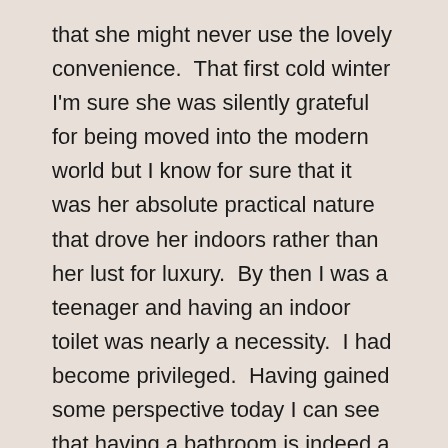that she might never use the lovely convenience.  That first cold winter I'm sure she was silently grateful for being moved into the modern world but I know for sure that it was her absolute practical nature that drove her indoors rather than her lust for luxury.  By then I was a teenager and having an indoor toilet was nearly a necessity.  I had become privileged.  Having gained some perspective today I can see that having a bathroom is indeed a luxury.  Sixty percent of the world's population does not have safe or indoor toilets.  And as unbelievable as it sounds there are a half million Americans who do not have indoor plumbing which includes (more understandably) rural and indigenous communities as well as (surprisingly) some urban communities according to the Plumbing Poverty Project.  (Who even knew such an organization existed?!?)  Personally, I am very grateful for the comfort and convenience of an indoor toilet and realize that there are